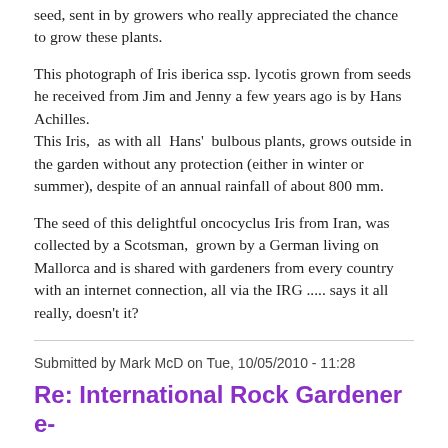seed, sent in by growers who really appreciated the chance to grow these plants.
This photograph of Iris iberica ssp. lycotis grown from seeds he received from Jim and Jenny a few years ago is by Hans Achilles.
This Iris, as with all Hans' bulbous plants, grows outside in the garden without any protection (either in winter or summer), despite of an annual rainfall of about 800 mm.
The seed of this delightful oncocyclus Iris from Iran, was collected by a Scotsman, grown by a German living on Mallorca and is shared with gardeners from every country with an internet connection, all via the IRG ..... says it all really, doesn't it?
Submitted by Mark McD on Tue, 10/05/2010 - 11:28
Re: International Rock Gardener e-